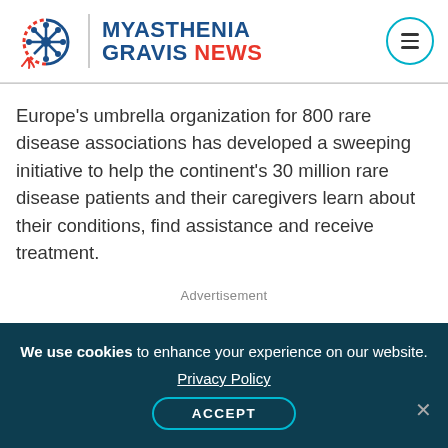[Figure (logo): Myasthenia Gravis News logo with stylized nerve cell icon and text]
Europe's umbrella organization for 800 rare disease associations has developed a sweeping initiative to help the continent's 30 million rare disease patients and their caregivers learn about their conditions, find assistance and receive treatment.
Advertisement
We use cookies to enhance your experience on our website.
Privacy Policy
ACCEPT